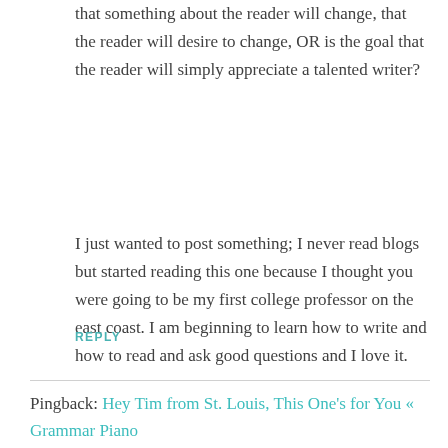that something about the reader will change, that the reader will desire to change, OR is the goal that the reader will simply appreciate a talented writer?
I just wanted to post something; I never read blogs but started reading this one because I thought you were going to be my first college professor on the east coast. I am beginning to learn how to write and how to read and ask good questions and I love it.
REPLY
Pingback: Hey Tim from St. Louis, This One's for You « Grammar Piano